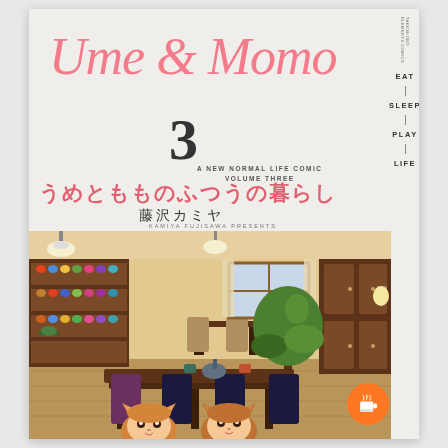Ume & Momo
3
A NEW NORMAL LIFE COMIC
VOLUME THREE
うめともものふつうの暮らし
藤沢カミヤ
KAMIYA FUJISAWA PRESENTS
[Figure (illustration): Anime-style illustration of a cozy cafe interior with wooden furniture, shelves of teacups, hanging lamps, a large plant, and two cat-eared anime characters in the foreground]
EAT | SLEEP | PLAY | LIFE